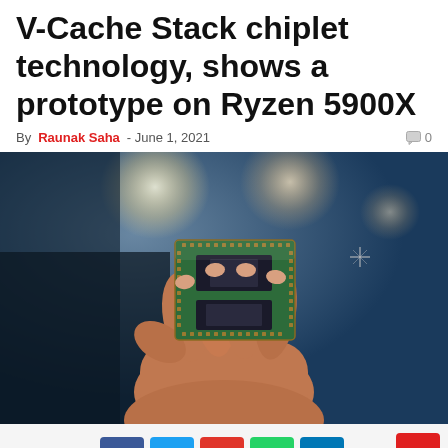V-Cache Stack chiplet technology, shows a prototype on Ryzen 5900X
By Raunak Saha - June 1, 2021  💬 0
[Figure (photo): A hand holding a green AMD chiplet (Ryzen 5900X prototype with V-Cache stacked die) against a blue bokeh background with bright lights]